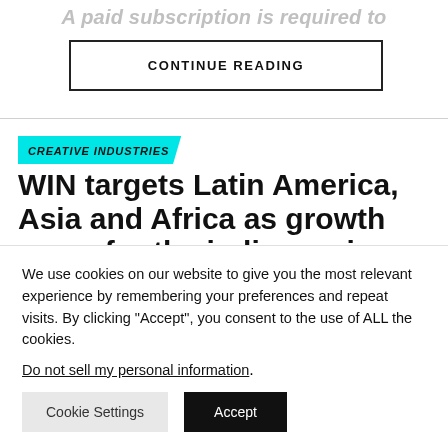A paid subscription is required to
CONTINUE READING
CREATIVE INDUSTRIES
WIN targets Latin America, Asia and Africa as growth areas for the indie music sector
We use cookies on our website to give you the most relevant experience by remembering your preferences and repeat visits. By clicking “Accept”, you consent to the use of ALL the cookies.
Do not sell my personal information.
Cookie Settings  Accept